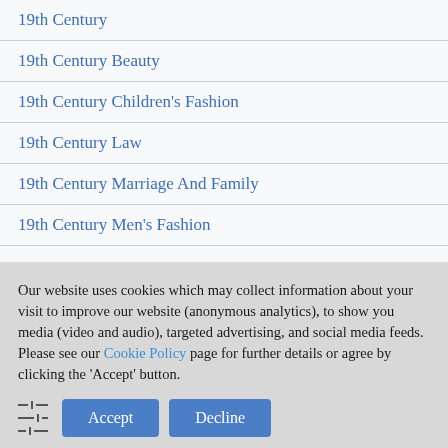19th Century
19th Century Beauty
19th Century Children's Fashion
19th Century Law
19th Century Marriage And Family
19th Century Men's Fashion
Our website uses cookies which may collect information about your visit to improve our website (anonymous analytics), to show you media (video and audio), targeted advertising, and social media feeds. Please see our Cookie Policy page for further details or agree by clicking the 'Accept' button.